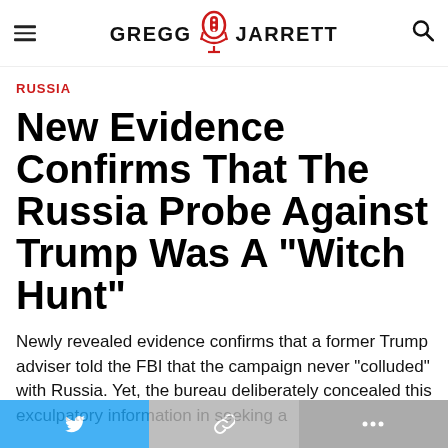GREGG JARRETT
RUSSIA
New Evidence Confirms That The Russia Probe Against Trump Was A "Witch Hunt"
Newly revealed evidence confirms that a former Trump adviser told the FBI that the campaign never "colluded" with Russia. Yet, the bureau deliberately concealed this exculpatory information in seeking a